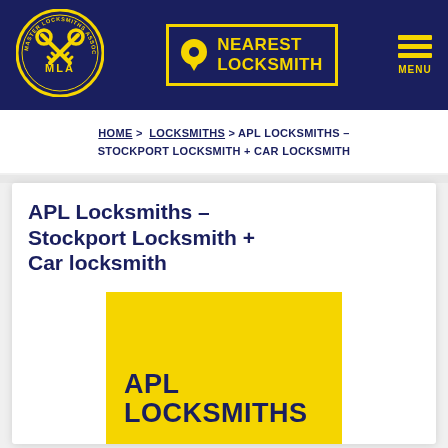[Figure (logo): Master Locksmiths Association MLA circular badge logo in yellow on dark navy blue header]
[Figure (infographic): NEAREST LOCKSMITH button with yellow pin icon and yellow border on navy background]
[Figure (infographic): Hamburger menu icon with three yellow lines and MENU label on navy background]
HOME > LOCKSMITHS > APL LOCKSMITHS – STOCKPORT LOCKSMITH + CAR LOCKSMITH
APL Locksmiths – Stockport Locksmith + Car locksmith
[Figure (logo): APL Locksmiths logo: yellow square background with dark navy bold text reading APL LOCKSMITHS]